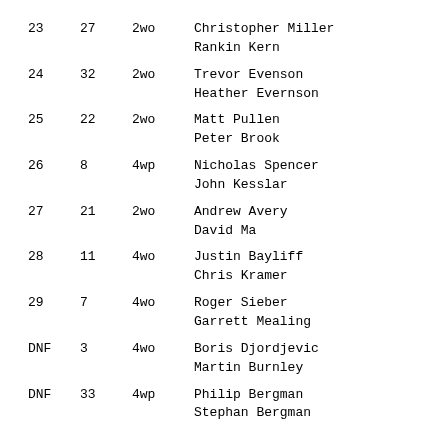| Place | Num | Class | Names |
| --- | --- | --- | --- |
| 23 | 27 | 2wo | Christopher Miller
Rankin Kern |
| 24 | 32 | 2wo | Trevor Evenson
Heather Evernson |
| 25 | 22 | 2wo | Matt Pullen
Peter Brook |
| 26 | 8 | 4wp | Nicholas Spencer
John Kesslar |
| 27 | 21 | 2wo | Andrew Avery
David Ma |
| 28 | 11 | 4wo | Justin Bayliff
Chris Kramer |
| 29 | 7 | 4wo | Roger Sieber
Garrett Mealing |
| DNF | 3 | 4wo | Boris Djordjevic
Martin Burnley |
| DNF | 33 | 4wp | Philip Bergman
Stephan Bergman |